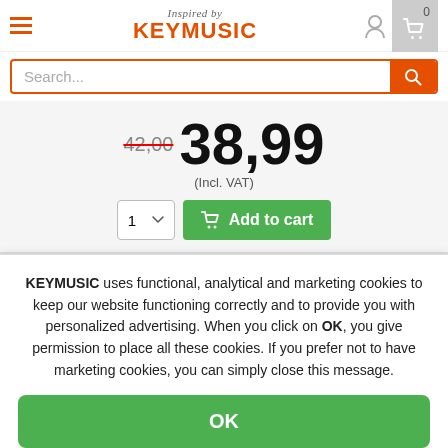Inspired by KEYMUSIC
Search...
42,00  38,99
(Incl. VAT)
1  Add to cart
KEYMUSIC uses functional, analytical and marketing cookies to keep our website functioning correctly and to provide you with personalized advertising. When you click on OK, you give permission to place all these cookies. If you prefer not to have marketing cookies, you can simply close this message.
OK
Close
Netherlands